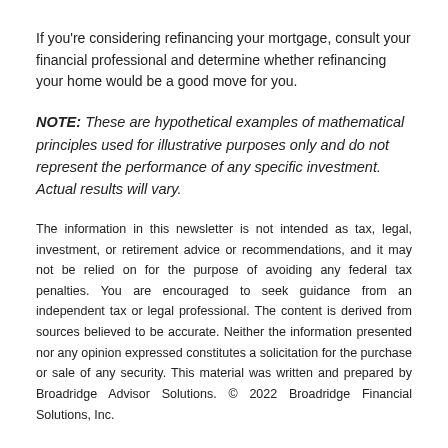If you're considering refinancing your mortgage, consult your financial professional and determine whether refinancing your home would be a good move for you.
NOTE: These are hypothetical examples of mathematical principles used for illustrative purposes only and do not represent the performance of any specific investment. Actual results will vary.
The information in this newsletter is not intended as tax, legal, investment, or retirement advice or recommendations, and it may not be relied on for the purpose of avoiding any federal tax penalties. You are encouraged to seek guidance from an independent tax or legal professional. The content is derived from sources believed to be accurate. Neither the information presented nor any opinion expressed constitutes a solicitation for the purchase or sale of any security. This material was written and prepared by Broadridge Advisor Solutions. © 2022 Broadridge Financial Solutions, Inc.